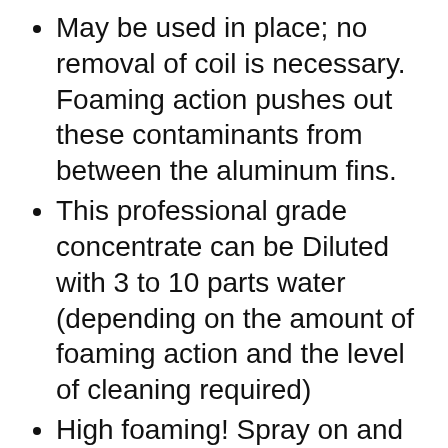May be used in place; no removal of coil is necessary. Foaming action pushes out these contaminants from between the aluminum fins.
This professional grade concentrate can be Diluted with 3 to 10 parts water (depending on the amount of foaming action and the level of cleaning required)
High foaming! Spray on and rinse off. Unbelievable results! Contains no acid.
Renews condenser coils,